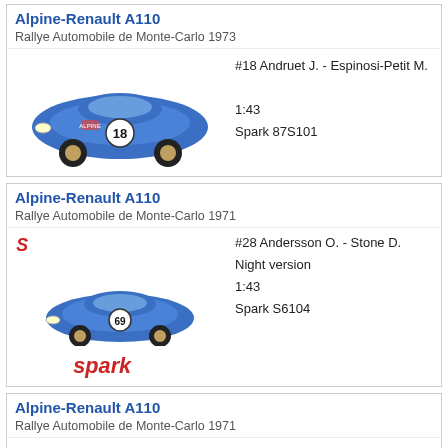Alpine-Renault A110
Rallye Automobile de Monte-Carlo 1973
[Figure (photo): Blue Alpine-Renault A110 scale model #18, 1:43 scale]
#18 Andruet J. - Espinosi-Petit M.
1:43
Spark 87S101
Alpine-Renault A110
Rallye Automobile de Monte-Carlo 1971
[Figure (photo): Blue Alpine-Renault A110 scale model #69, 1:43 scale, night version, with Spark logos]
#28 Andersson O. - Stone D.
Night version
1:43
Spark S6104
Alpine-Renault A110
Rallye Automobile de Monte-Carlo 1971
[Figure (logo): Spark logo small red]
#9 Thérier J. - Callewaert M.